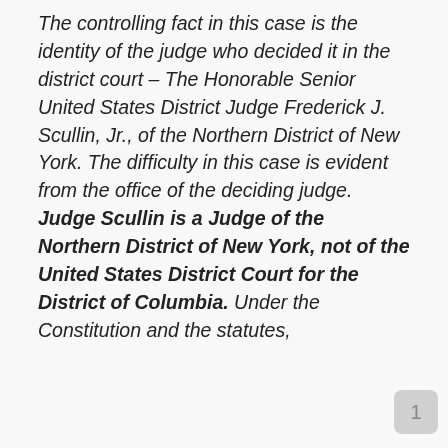The controlling fact in this case is the identity of the judge who decided it in the district court – The Honorable Senior United States District Judge Frederick J. Scullin, Jr., of the Northern District of New York. The difficulty in this case is evident from the office of the deciding judge. Judge Scullin is a Judge of the Northern District of New York, not of the United States District Court for the District of Columbia. Under the Constitution and the statutes,
1